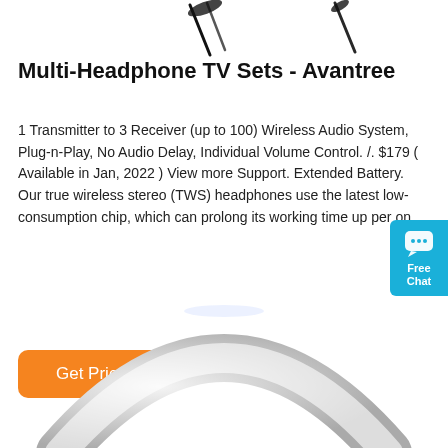[Figure (photo): Top portion of headphone wire/cable product image on white background]
Multi-Headphone TV Sets - Avantree
1 Transmitter to 3 Receiver (up to 100) Wireless Audio System, Plug-n-Play, No Audio Delay, Individual Volume Control. /. $179 ( Available in Jan, 2022 ) View more Support. Extended Battery. Our true wireless stereo (TWS) headphones use the latest low-consumption chip, which can prolong its working time up per on …
[Figure (other): Free Chat widget button with speech bubble icon, teal/cyan background]
[Figure (other): Get Price orange button]
[Figure (photo): White over-ear headphone product image on white background, bottom portion of page]